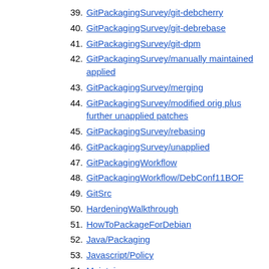39. GitPackagingSurvey/git-debcherry
40. GitPackagingSurvey/git-debrebase
41. GitPackagingSurvey/git-dpm
42. GitPackagingSurvey/manually maintained applied
43. GitPackagingSurvey/merging
44. GitPackagingSurvey/modified orig plus further unapplied patches
45. GitPackagingSurvey/rebasing
46. GitPackagingSurvey/unapplied
47. GitPackagingWorkflow
48. GitPackagingWorkflow/DebConf11BOF
49. GitSrc
50. HardeningWalkthrough
51. HowToPackageForDebian
52. Java/Packaging
53. Javascript/Policy
54. Maintainers
55. MediaWiki
56. Mentors